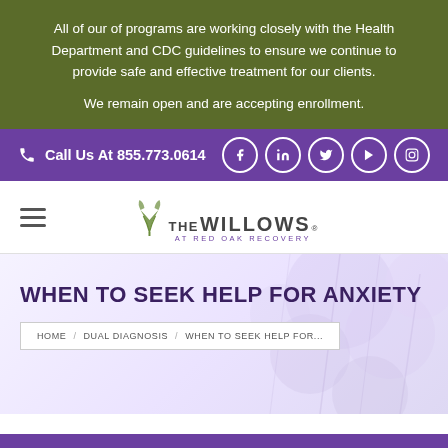All of our of programs are working closely with the Health Department and CDC guidelines to ensure we continue to provide safe and effective treatment for our clients. We remain open and are accepting enrollment.
Call Us At 855.773.0614
[Figure (logo): The Willows at Red Oak Recovery logo with leaf/willow graphic]
WHEN TO SEEK HELP FOR ANXIETY
HOME / DUAL DIAGNOSIS / WHEN TO SEEK HELP FOR...